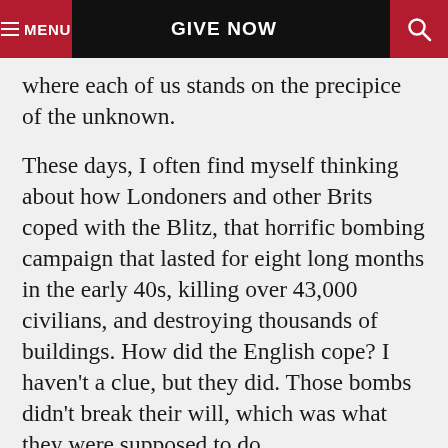MENU   GIVE NOW   🔍
where each of us stands on the precipice of the unknown.
These days, I often find myself thinking about how Londoners and other Brits coped with the Blitz, that horrific bombing campaign that lasted for eight long months in the early 40s, killing over 43,000 civilians, and destroying thousands of buildings. How did the English cope? I haven't a clue, but they did. Those bombs didn't break their will, which was what they were supposed to do,